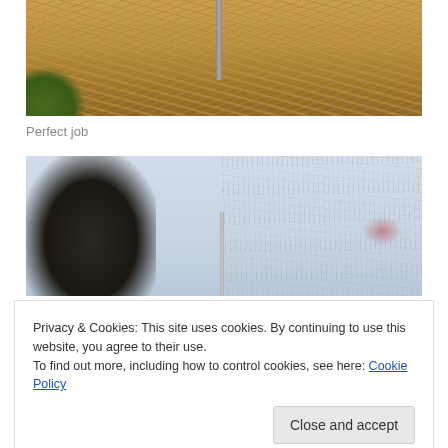[Figure (photo): Outdoor photo showing a hay/grass field with a metal pole in the center and some green vegetation on the left edge. Warm golden-brown tones.]
Perfect job
[Figure (photo): Outdoor photo showing a leafless tree on the left against a pale blue-grey sky, with wire fencing on the right side and a blurry red/orange element in the background.]
Privacy & Cookies: This site uses cookies. By continuing to use this website, you agree to their use.
To find out more, including how to control cookies, see here: Cookie Policy
[Figure (photo): Bottom strip of an outdoor photo showing ground/vegetation with warm brown tones.]